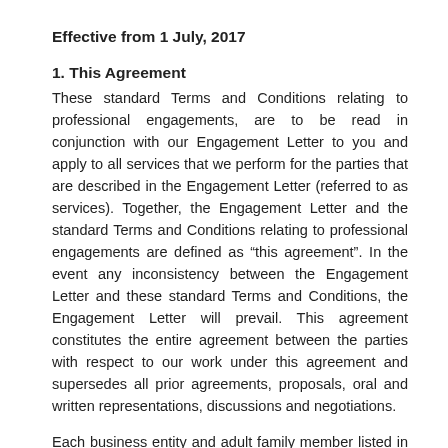Effective from 1 July, 2017
1. This Agreement
These standard Terms and Conditions relating to professional engagements, are to be read in conjunction with our Engagement Letter to you and apply to all services that we perform for the parties that are described in the Engagement Letter (referred to as services). Together, the Engagement Letter and the standard Terms and Conditions relating to professional engagements are defined as “this agreement”. In the event any inconsistency between the Engagement Letter and these standard Terms and Conditions, the Engagement Letter will prevail. This agreement constitutes the entire agreement between the parties with respect to our work under this agreement and supersedes all prior agreements, proposals, oral and written representations, discussions and negotiations.
Each business entity and adult family member listed in the Engagement Letter engages us on the terms set out in this Engagement Letter, and are bound by those terms. The business entities and adult family members listed are all